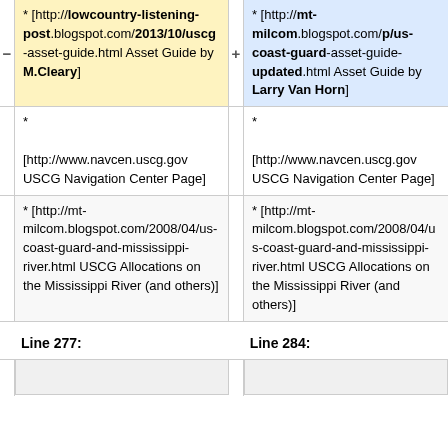| Left diff | Right diff |
| --- | --- |
| * [http://lowcountry-listening-post.blogspot.com/2013/10/uscg-asset-guide.html Asset Guide by M.Cleary] | * [http://mt-milcom.blogspot.com/p/us-coast-guard-asset-guide-updated.html Asset Guide by Larry Van Horn] |
| *

[http://www.navcen.uscg.gov USCG Navigation Center Page] | *

[http://www.navcen.uscg.gov USCG Navigation Center Page] |
| * [http://mt-milcom.blogspot.com/2008/04/us-coast-guard-and-mississippi-river.html USCG Allocations on the Mississippi River (and others)] | * [http://mt-milcom.blogspot.com/2008/04/us-coast-guard-and-mississippi-river.html USCG Allocations on the Mississippi River (and others)] |
Line 277:
Line 284: